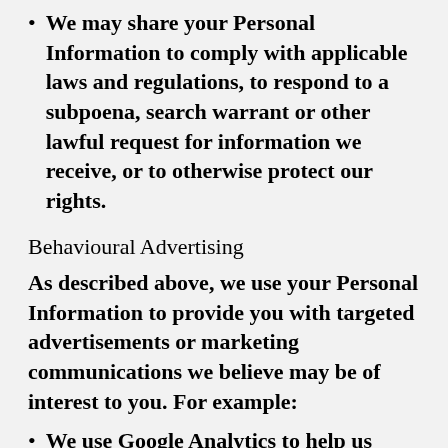We may share your Personal Information to comply with applicable laws and regulations, to respond to a subpoena, search warrant or other lawful request for information we receive, or to otherwise protect our rights.
Behavioural Advertising
As described above, we use your Personal Information to provide you with targeted advertisements or marketing communications we believe may be of interest to you. For example:
We use Google Analytics to help us